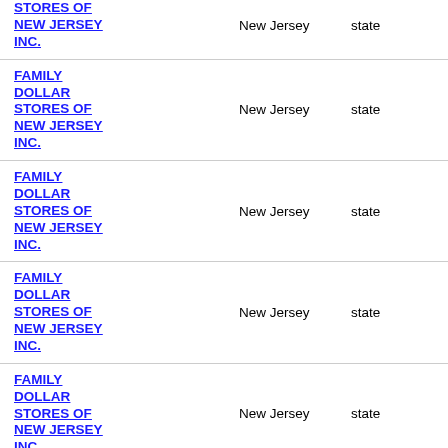| Name | State | Type |
| --- | --- | --- |
| STORES OF NEW JERSEY INC. | New Jersey | state |
| FAMILY DOLLAR STORES OF NEW JERSEY INC. | New Jersey | state |
| FAMILY DOLLAR STORES OF NEW JERSEY INC. | New Jersey | state |
| FAMILY DOLLAR STORES OF NEW JERSEY INC. | New Jersey | state |
| FAMILY DOLLAR STORES OF NEW JERSEY INC. | New Jersey | state |